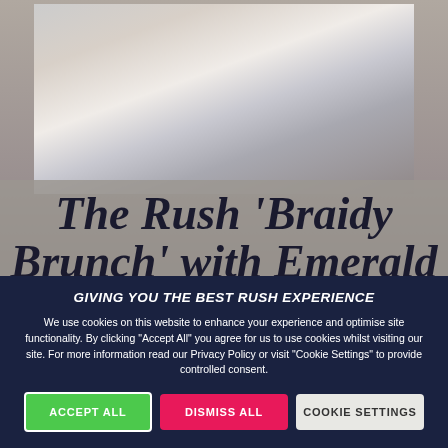[Figure (photo): Photo of two people from torso down, partially cropped, shown above the article title area]
The Rush 'Braidy Brunch' with Emerald Street & Kerb in
GIVING YOU THE BEST RUSH EXPERIENCE
We use cookies on this website to enhance your experience and optimise site functionality. By clicking "Accept All" you agree for us to use cookies whilst visiting our site. For more information read our Privacy Policy or visit "Cookie Settings" to provide controlled consent.
ACCEPT ALL
DISMISS ALL
COOKIE SETTINGS